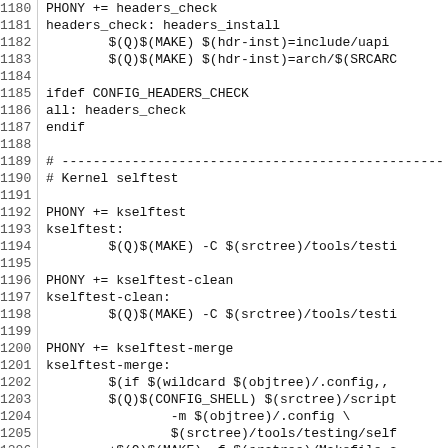Source code listing, Makefile, lines 1180-1209
1180: PHONY += headers_check
1181: headers_check: headers_install
1182:         $(Q)$(MAKE) $(hdr-inst)=include/uapi
1183:         $(Q)$(MAKE) $(hdr-inst)=arch/$(SRCARC
1184: (blank)
1185: ifdef CONFIG_HEADERS_CHECK
1186: all: headers_check
1187: endif
1188: (blank)
1189: # ---...
1190: # Kernel selftest
1191: (blank)
1192: PHONY += kselftest
1193: kselftest:
1194:         $(Q)$(MAKE) -C $(srctree)/tools/testi
1195: (blank)
1196: PHONY += kselftest-clean
1197: kselftest-clean:
1198:         $(Q)$(MAKE) -C $(srctree)/tools/testi
1199: (blank)
1200: PHONY += kselftest-merge
1201: kselftest-merge:
1202:         $(if $(wildcard $(objtree)/.config,,
1203:         $(Q)$(CONFIG_SHELL) $(srctree)/script
1204:                 -m $(objtree)/.config \
1205:                 $(srctree)/tools/testing/self
1206:         +$(Q)$(MAKE) -f $(srctree)/Makefile c
1207: (blank)
1208: # ---...
1209: # Devicetree files